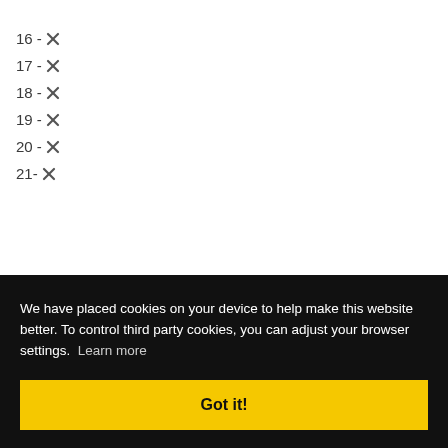16 - ✕
17 - ✕
18 - ✕
19 - ✕
20 - ✕
21- ✕
We have placed cookies on your device to help make this website better. To control third party cookies, you can adjust your browser settings. Learn more
Got it!